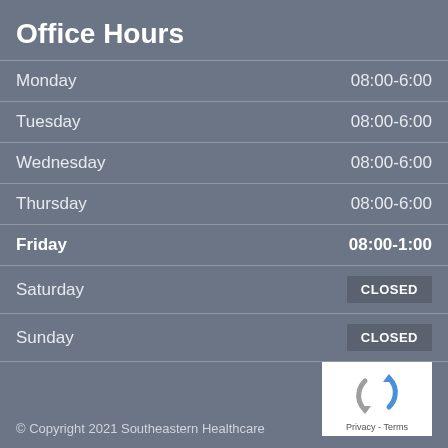Office Hours
| Day | Hours |
| --- | --- |
| Monday | 08:00-6:00 |
| Tuesday | 08:00-6:00 |
| Wednesday | 08:00-6:00 |
| Thursday | 08:00-6:00 |
| Friday | 08:00-1:00 |
| Saturday | CLOSED |
| Sunday | CLOSED |
© Copyright 2021 Southeastern Healthcare